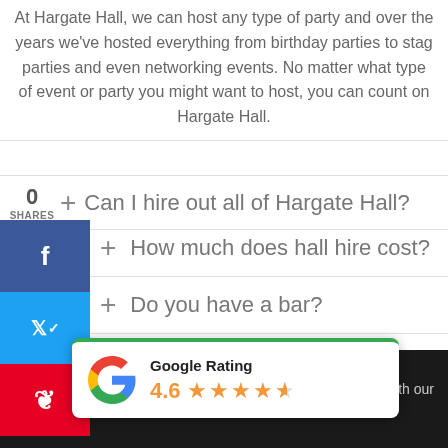At Hargate Hall, we can host any type of party and over the years we've hosted everything from birthday parties to stag parties and even networking events. No matter what type of event or party you might want to host, you can count on Hargate Hall.
+ Can I hire out all of Hargate Hall?
+ How much does hall hire cost?
+ Do you have a bar?
+ How do I book venue hire at Hargate Hall?
We ... nline experience. By using our we... es in accordance with our cookie policy.  I accept
[Figure (logo): Google Rating popup showing 4.6 stars rating with Google G logo and green top border]